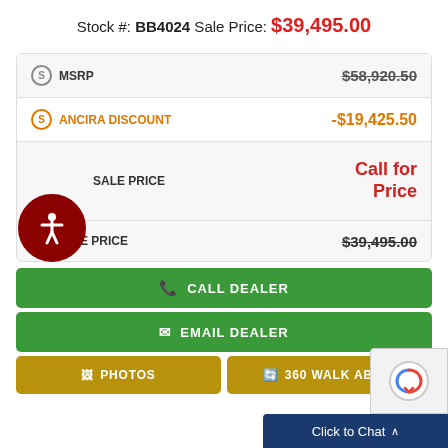Stock #: BB4024 Sale Price: $39,495.00
| Item | Value |
| --- | --- |
| MSRP | $58,920.50 |
| ANCIRA DISCOUNT | -$19,425.50 |
| SALE PRICE | Call for Price |
| SALE PRICE | $39,495.00 |
CALL DEALER
EMAIL DEALER
PHOTOS
360 WALK ABOUT
Click to Chat